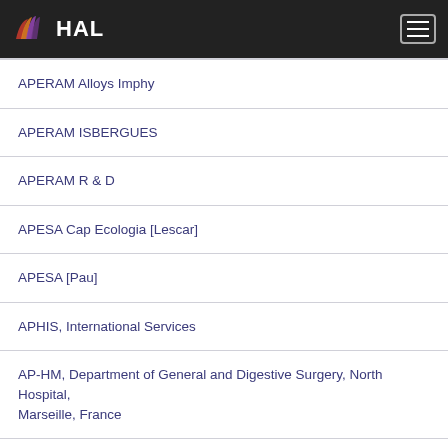HAL
APERAM Alloys Imphy
APERAM ISBERGUES
APERAM R & D
APESA Cap Ecologia [Lescar]
APESA [Pau]
APHIS, International Services
AP-HM, Department of General and Digestive Surgery, North Hospital, Marseille, France
AP-HP
AP-HP, Anatomie et de Cytologie Pathologiques, Hôpital Robert Debré
AP-HP - Departement de Physiologie